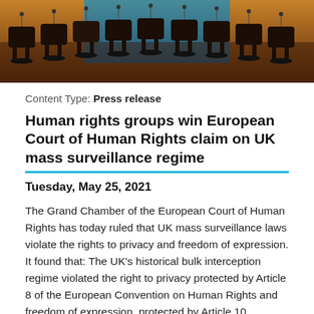[Figure (photo): Rows of empty office chairs with microphones in what appears to be a conference or court room setting, with blue and orange background lighting.]
Content Type: Press release
Human rights groups win European Court of Human Rights claim on UK mass surveillance regime
Tuesday, May 25, 2021
The Grand Chamber of the European Court of Human Rights has today ruled that UK mass surveillance laws violate the rights to privacy and freedom of expression. It found that: The UK's historical bulk interception regime violated the right to privacy protected by Article 8 of the European Convention on Human Rights and freedom of expression, protected by Article 10. Particularly it found that: the absence of independent authorisation, the failure to include the categories of selectors in